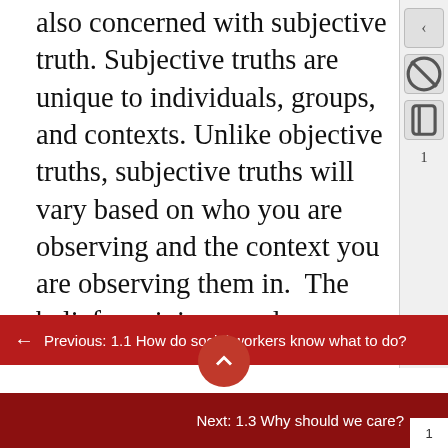also concerned with subjective truth. Subjective truths are unique to individuals, groups, and contexts. Unlike objective truths, subjective truths will vary based on who you are observing and the context you are observing them in.  The beliefs, opinions, and preferences of people are actually truths that social scientists measure and describe. Additionally, subjective truths do not exist independent of human observation because they are the product of the human mind.  We negotiate what is true in the social world through language, arriving at a consensus and
← Previous: 1.1 How do social workers know what to do?
Next: 1.3 Why should we care? →